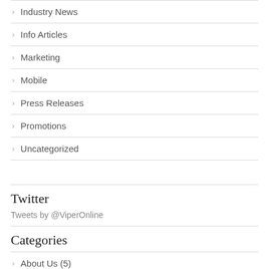Industry News
Info Articles
Marketing
Mobile
Press Releases
Promotions
Uncategorized
Twitter
Tweets by @ViperOnline
Categories
About Us (5)